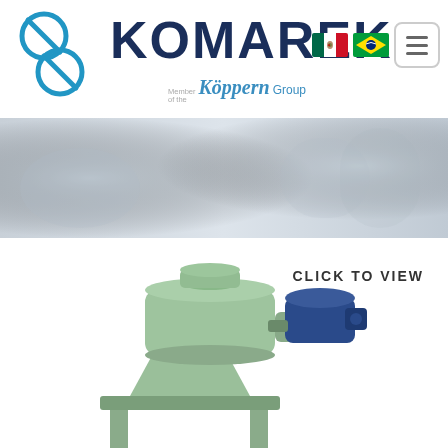[Figure (logo): Komarek company logo with two blue circular icons and bold dark blue KOMAREK text, with 'Member of the Köppern Group' tagline. Mexican and Brazilian flag icons and a hamburger menu button on the right.]
[Figure (photo): Faded light gray industrial machinery background banner image.]
CLICK TO VIEW
[Figure (photo): Green industrial compaction/granulation machine with a blue electric motor, conical hopper, and metal frame legs.]